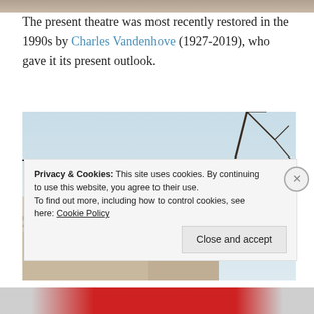[Figure (photo): Partial top strip showing the top edge of a previous photo of a theatre building]
The present theatre was most recently restored in the 1990s by Charles Vandenhove (1927-2019), who gave it its present outlook.
[Figure (photo): Photograph of the rooftop pediment/tympanum of a neoclassical theatre building against a pale sky, with bare winter tree branches visible on the right side.]
Privacy & Cookies: This site uses cookies. By continuing to use this website, you agree to their use.
To find out more, including how to control cookies, see here: Cookie Policy
Close and accept